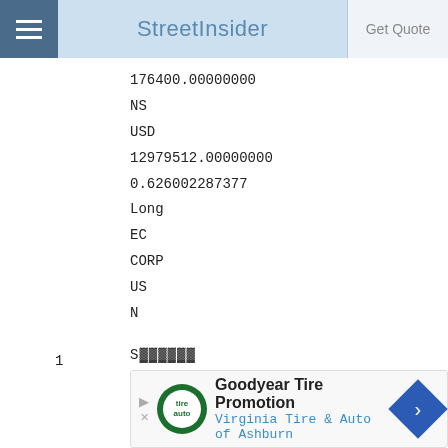StreetInsider
176400.00000000
NS
USD
12979512.00000000
0.626002287377
Long
EC
CORP
US
N
1
N
N
N
[Figure (screenshot): Goodyear Tire Promotion advertisement banner — Virginia Tire & Auto of Ashburn]